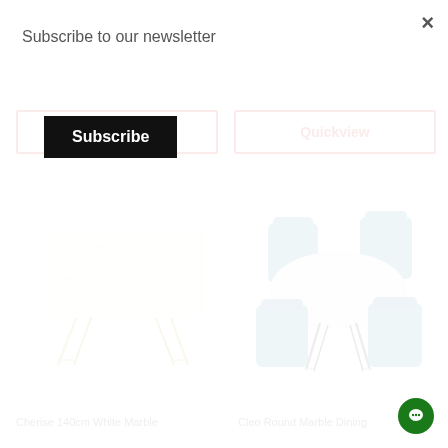Subscribe to our newsletter
Subscribe
Quickview
Quickview
[Figure (photo): Cherise 140cm White Marble dining table with gold geometric legs]
[Figure (photo): Cleo Round Marble Dining table with blue chairs and black metal legs]
Cherise 140cm White Marble
Cleo Round Marble Dining